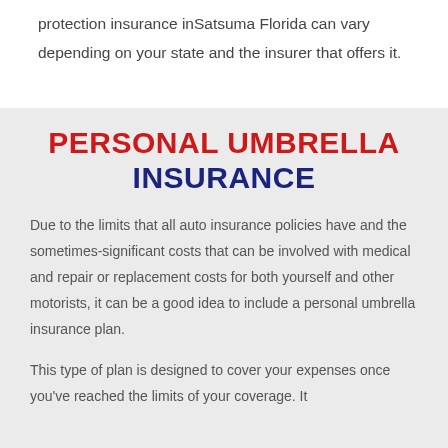protection insurance inSatsuma Florida can vary depending on your state and the insurer that offers it.
PERSONAL UMBRELLA INSURANCE
Due to the limits that all auto insurance policies have and the sometimes-significant costs that can be involved with medical and repair or replacement costs for both yourself and other motorists, it can be a good idea to include a personal umbrella insurance plan.
This type of plan is designed to cover your expenses once you've reached the limits of your coverage. It